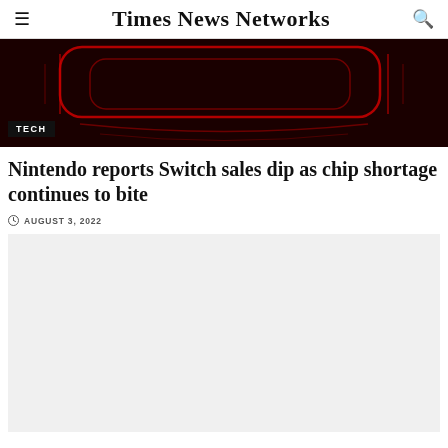Times News Networks
[Figure (photo): Dark hero image with red neon-like lines on black background, labeled TECH]
Nintendo reports Switch sales dip as chip shortage continues to bite
AUGUST 3, 2022
[Figure (photo): Light gray placeholder image block]